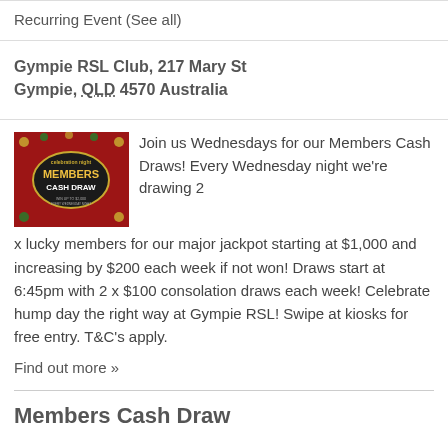Recurring Event (See all)
Gympie RSL Club, 217 Mary St
Gympie, QLD 4570 Australia
[Figure (photo): Red promotional image for Members Cash Draw event night with decorative elements]
Join us Wednesdays for our Members Cash Draws! Every Wednesday night we're drawing 2 x lucky members for our major jackpot starting at $1,000 and increasing by $200 each week if not won! Draws start at 6:45pm with 2 x $100 consolation draws each week! Celebrate hump day the right way at Gympie RSL! Swipe at kiosks for free entry. T&C's apply.
Find out more »
Members Cash Draw